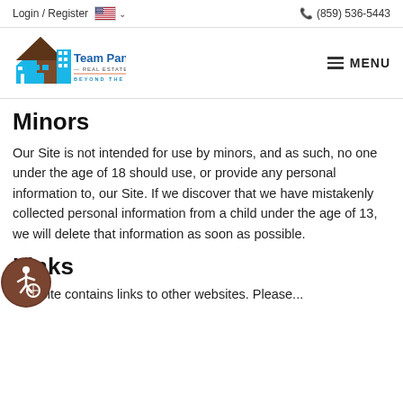Login / Register   (859) 536-5443
[Figure (logo): Team Pannell Real Estate Beyond The Sale logo with house icon in blue and brown]
Minors
Our Site is not intended for use by minors, and as such, no one under the age of 18 should use, or provide any personal information to, our Site. If we discover that we have mistakenly collected personal information from a child under the age of 13, we will delete that information as soon as possible.
Links
The Site contains links to other websites. Please...
[Figure (illustration): Accessibility icon badge — circular brown button with wheelchair user symbol]